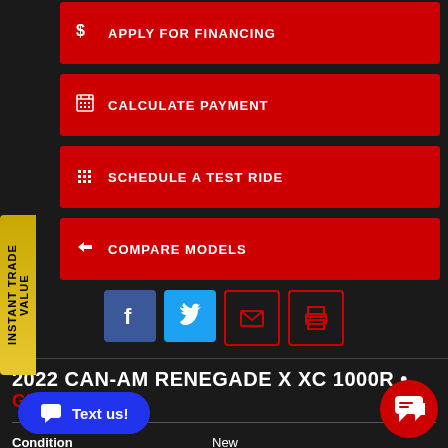APPLY FOR FINANCING
CALCULATE PAYMENT
SCHEDULE A TEST RIDE
COMPARE MODELS
[Figure (other): Instant Trade Value vertical sidebar tab in gold/yellow]
[Figure (other): Social share icons: Facebook (blue), Twitter (light blue), Email (red border), Print (red border)]
2022 CAN-AM RENEGADE X XC 1000R • GET PRICE
| Field | Value |
| --- | --- |
| Condition | New |
|  | ATVs |
[Figure (other): Text us! button (blue pill shape with chat icon)]
[Figure (other): Red circular chat button bottom right]